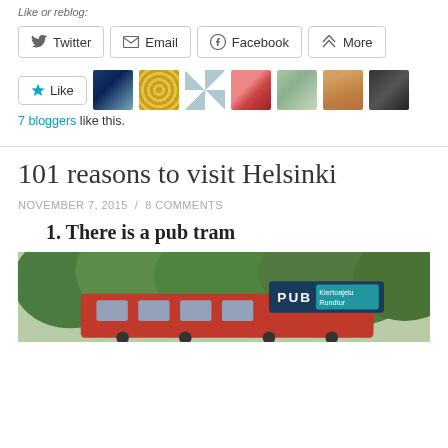Like or reblog:
[Figure (infographic): Row of social share buttons: Twitter, Email, Facebook, More]
[Figure (infographic): Like button with star icon followed by 7 blogger avatar thumbnails]
7 bloggers like this.
101 reasons to visit Helsinki
NOVEMBER 7, 2015 / 8 COMMENTS
1. There is a pub tram
[Figure (photo): Photo of a red tram with a PUB sign (Kiertoajelu Rundtur) among trees]